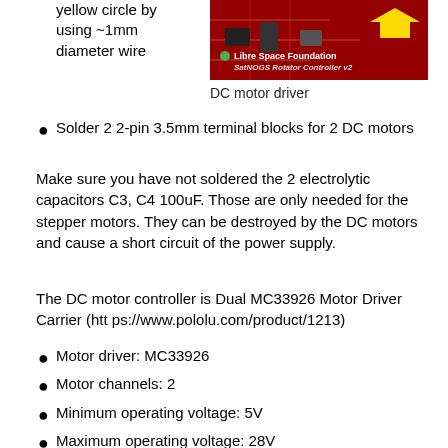yellow circle by using ~1mm diameter wire
[Figure (photo): Red circuit board showing Libre Space Foundation SatNOGS Rotator Controller v2, DC motor driver, with yellow arrow pointing to component]
DC motor driver
Solder 2 2-pin 3.5mm terminal blocks for 2 DC motors
Make sure you have not soldered the 2 electrolytic capacitors C3, C4 100uF. Those are only needed for the stepper motors. They can be destroyed by the DC motors and cause a short circuit of the power supply.
The DC motor controller is Dual MC33926 Motor Driver Carrier (https://www.pololu.com/product/1213)
Motor driver: MC33926
Motor channels: 2
Minimum operating voltage: 5V
Maximum operating voltage: 28V
Operating voltage: 12V
Continuous output current per channel: 2.5A
Current sense: 0.525 V/A
Maximum PWM frequency: 20 kHz